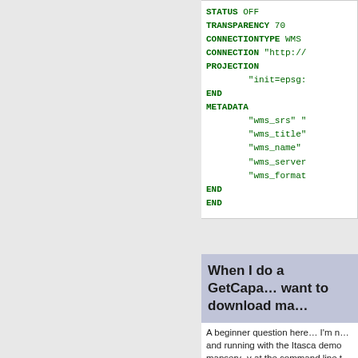[Figure (screenshot): Code block showing MapServer configuration snippet with STATUS OFF, TRANSPARENCY 70, CONNECTIONTYPE WMS, CONNECTION, PROJECTION, END, METADATA, wms_srs, wms_title, wms_name, wms_server, wms_format, END, END keywords in bold green monospace]
When I do a GetCapa… want to download ma…
A beginner question here… I'm n… and running with the Itasca demo mapserv -v at the command line t… point my browser to it, my brows…
What am I missing?